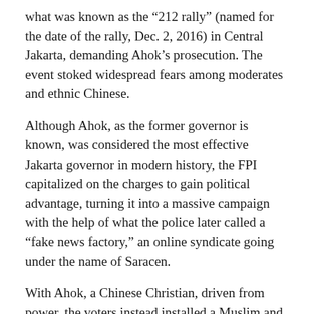what was known as the “212 rally” (named for the date of the rally, Dec. 2, 2016) in Central Jakarta, demanding Ahok’s prosecution. The event stoked widespread fears among moderates and ethnic Chinese.
Although Ahok, as the former governor is known, was considered the most effective Jakarta governor in modern history, the FPI capitalized on the charges to gain political advantage, turning it into a massive campaign with the help of what the police later called a “fake news factory,” an online syndicate going under the name of Saracen.
With Ahok, a Chinese Christian, driven from power, the voters instead installed a Muslim and Prabowo ally, Anies Baswedan into the governor’s seat. Numerous well-placed politicians allegedly funded the rally and the anti-Ahok campaign.